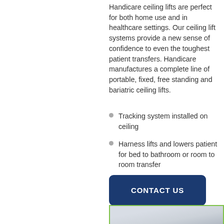Handicare ceiling lifts are perfect for both home use and in healthcare settings. Our ceiling lift systems provide a new sense of confidence to even the toughest patient transfers. Handicare manufactures a complete line of portable, fixed, free standing and bariatric ceiling lifts.
Tracking system installed on ceiling
Harness lifts and lowers patient for bed to bathroom or room to room transfer
[Figure (other): A blue rounded rectangle button labeled CONTACT US in white bold uppercase text]
[Figure (photo): Partial view of a Handicare ceiling lift product, showing a light gray/silver track or rail component, cropped at the bottom of the page]